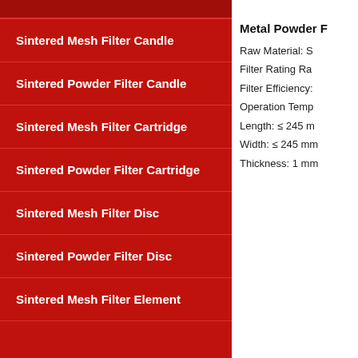Sintered Mesh Filter Candle
Sintered Powder Filter Candle
Sintered Mesh Filter Cartridge
Sintered Powder Filter Cartridge
Sintered Mesh Filter Disc
Sintered Powder Filter Disc
Sintered Mesh Filter Element
Metal Powder F
Raw Material: S
Filter Rating Ra
Filter Efficiency:
Operation Temp
Length: ≤ 245 m
Width: ≤ 245 mm
Thickness: 1 mm